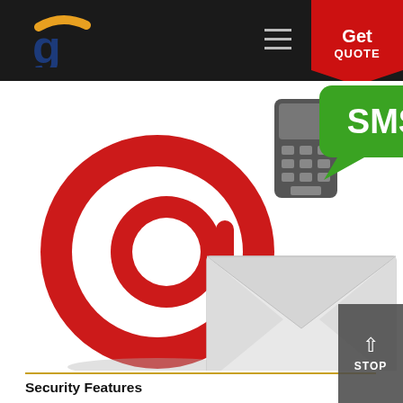Get QUOTE
[Figure (illustration): Illustration of a red @ symbol, a mobile phone keypad, a green SMS speech bubble, and a white envelope, representing SMS and email communication services.]
Security Features
Complete software access can be restricted by specific IP addresses for the security purpose. Admin can set which IP addresses are allowed to access the operator